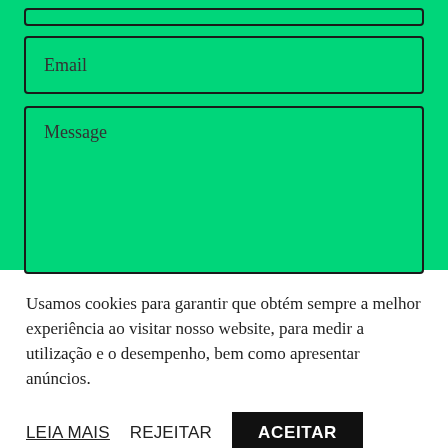[Figure (screenshot): Green background contact form section showing an Email input field and a Message textarea field, both with dark borders on green (#00d67a) background.]
Usamos cookies para garantir que obtém sempre a melhor experiência ao visitar nosso website, para medir a utilização e o desempenho, bem como apresentar anúncios.
LEIA MAIS
REJEITAR
ACEITAR